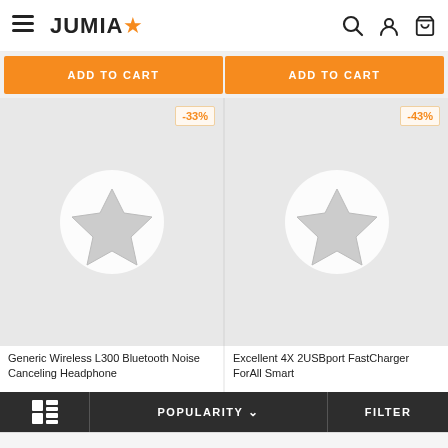JUMIA
ADD TO CART
ADD TO CART
[Figure (screenshot): Product image placeholder with Jumia star logo, -33% discount badge, for Generic Wireless L300 Bluetooth Noise Canceling Headphone]
[Figure (screenshot): Product image placeholder with Jumia star logo, -43% discount badge, for Excellent 4X 2USBport FastCharger ForAll Smart]
Generic Wireless L300 Bluetooth Noise Canceling Headphone
Excellent 4X 2USBport FastCharger ForAll Smart
POPULARITY
FILTER
This website uses cookies. For further information on how we use cookies you can read our Privacy and Cookie notice